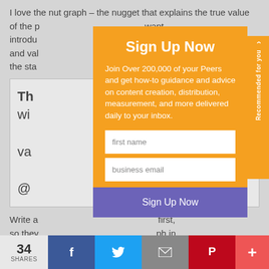I love the nut graph – the nugget that explains the true value of the p... introdu... want and val... sets the sta...
Th... ow wi... va... @...
Sign Up Now
Join Over 200,000 of your Peers and get how-to guidance and advice on content creation, distribution, measurement, and more delivered daily to your inbox.
first name
business email
Sign Up Now
Write a... first, so they... ph in
34
SHARES
Recommended for you